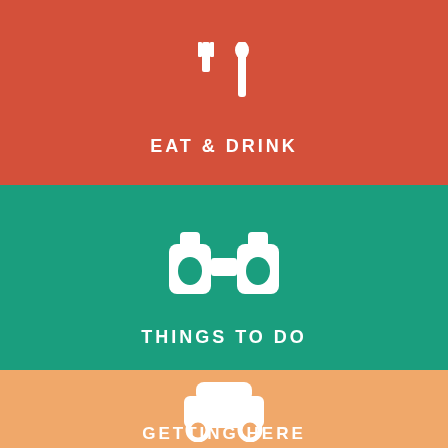[Figure (infographic): Red section with fork and knife icon and text EAT & DRINK]
[Figure (infographic): Teal section with binoculars icon and text THINGS TO DO]
[Figure (infographic): Orange section with car icon and partial text GETTING HERE]